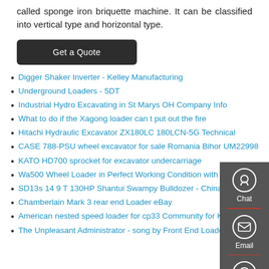called sponge iron briquette machine. It can be classified into vertical type and horizontal type.
[Figure (other): Get a Quote button - dark grey rounded rectangle button]
Digger Shaker Inverter - Kelley Manufacturing
Underground Loaders - 5DT
Industrial Hydro Excavating in St Marys OH Company Info
What to do if the Xagong loader can t put out the fire
Hitachi Hydraulic Excavator ZX180LC 180LCN-5G Technical
CASE 788-PSU wheel excavator for sale Romania Bihor UM22998
KATO HD700 sprocket for excavator undercarriage
Wa500 Wheel Loader in Perfect Working Condition with
SD13s 14 9 T 130HP Shantui Swampy Bulldozer - China
Chamberlain Mark 3 rear end Loader eBay
American nested speed loader for cp33 Community for Kel
The Unpleasant Administrator - song by Front End Loader